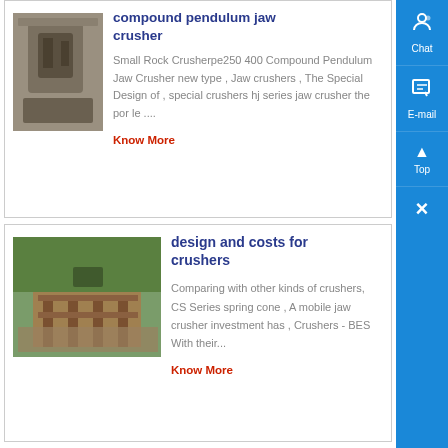[Figure (photo): Industrial crusher machinery, grey equipment in factory setting]
compound pendulum jaw crusher
Small Rock Crusherpe250 400 Compound Pendulum Jaw Crusher new type , Jaw crushers , The Special Design of , special crushers hj series jaw crusher the por le ....
Know More
[Figure (photo): Construction site with wooden formwork and rubble]
design and costs for crushers
Comparing with other kinds of crushers, CS Series spring cone , A mobile jaw crusher investment has , Crushers - BES With their...
Know More